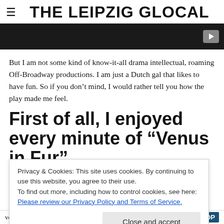THE LEIPZIG GLOCAL
[Figure (screenshot): Dark video player bar with a play button on the right]
But I am not some kind of know-it-all drama intellectual, roaming Off-Broadway productions. I am just a Dutch gal that likes to have fun. So if you don't mind, I would rather tell you how the play made me feel.
First of all, I enjoyed every minute of “Venus in Fur”
Privacy & Cookies: This site uses cookies. By continuing to use this website, you agree to their use.
To find out more, including how to control cookies, see here:
Please review our Privacy Policy and Terms of Service.
Close and accept
very convincing as the voluptuous Vanda, the auditi…